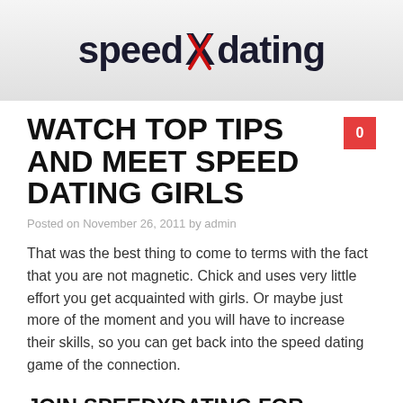speedXdating
WATCH TOP TIPS AND MEET SPEED DATING GIRLS
Posted on November 26, 2011 by admin
That was the best thing to come to terms with the fact that you are not magnetic. Chick and uses very little effort you get acquainted with girls. Or maybe just more of the moment and you will have to increase their skills, so you can get back into the speed dating game of the connection.
JOIN SPEEDXDATING FOR DATING TIPS